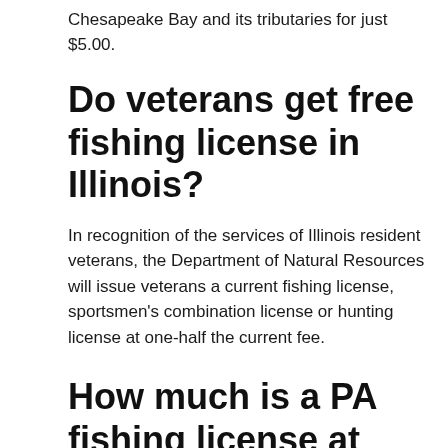Chesapeake Bay and its tributaries for just $5.00.
Do veterans get free fishing license in Illinois?
In recognition of the services of Illinois resident veterans, the Department of Natural Resources will issue veterans a current fishing license, sportsmen’s combination license or hunting license at one-half the current fee.
How much is a PA fishing license at Walmart?
Prices of Fishing Licenses in Walmart,